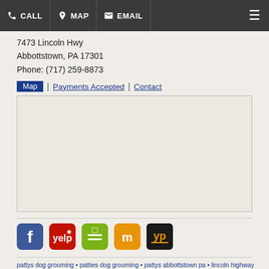CALL | MAP | EMAIL
7473 Lincoln Hwy
Abbottstown, PA 17301
Phone: (717) 259-8873
Map | Payments Accepted | Contact
[Figure (map): Embedded map placeholder showing location at 7473 Lincoln Hwy, Abbottstown, PA 17301]
[Figure (infographic): Row of social media icons: Facebook, Yelp, a green app icon, Minted/Mozy orange icon, YP (Yellow Pages) icon]
pattys dog grooming • patties dog grooming • pattys abbottstown pa • lincoln highway